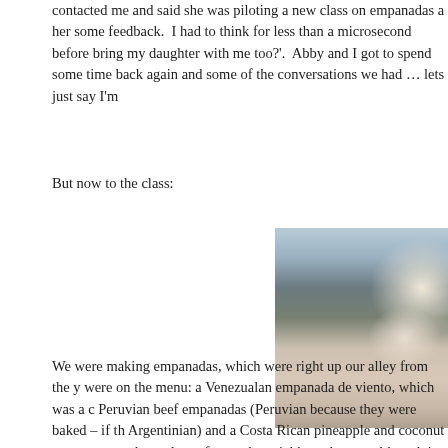contacted me and said she was piloting a new class on empanadas a her some feedback.  I had to think for less than a microsecond before bring my daughter with me too?'.  Abby and I got to spend some time back again and some of the conversations we had … lets just say I'm
But now to the class:
[Figure (photo): A young girl with glasses and a pink top working at a kitchen counter in a cooking class, with a mirror backsplash reflecting the class participants.]
We were making empanadas, which were right up our alley from the y were on the menu: a Venezualan empanada de viento, which was a c Peruvian beef empanadas (Peruvian because they were baked – if th Argentinian) and a Costa Rican pineapple and coconut sweet empan them gluten-free and to trial how they would work in a class.